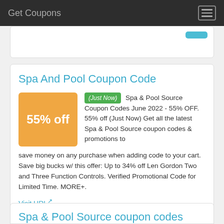Get Coupons
Spa And Pool Coupon Code
(Just Now) Spa & Pool Source Coupon Codes June 2022 - 55% OFF. 55% off (Just Now) Get all the latest Spa & Pool Source coupon codes & promotions to save money on any purchase when adding code to your cart. Save big bucks w/ this offer: Up to 34% off Len Gordon Two and Three Function Controls. Verified Promotional Code for Limited Time. MORE+.
Visit URL
Category:  coupon codes
Spa & Pool Source coupon codes